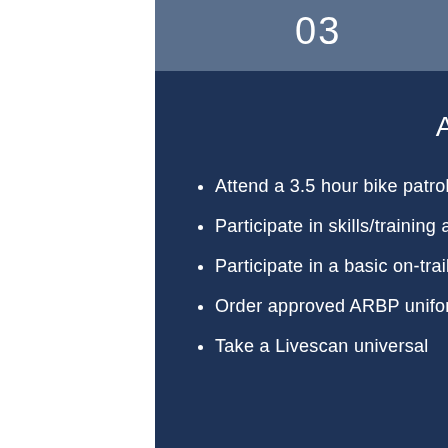03
Log In
ARBP Orientation
Attend a 3.5 hour bike patrol "trail ready" orientation class and pass the quiz
Participate in skills/training assessment check-off ride
Participate in a basic on-trail bike repair class
Order approved ARBP uniform items
Take a Livescan universal